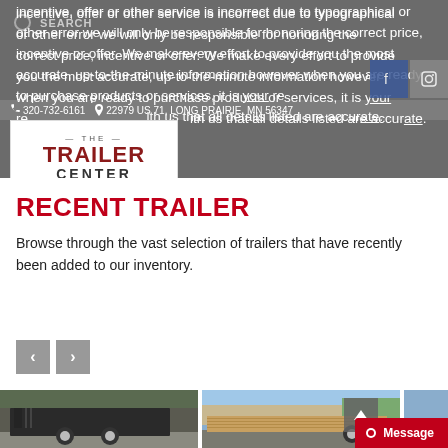incentive, offer or other service is incorrect due to typographical or other error we will only be responsible for honoring the correct price, incentive or offer. We make every effort to provide you the most accurate, up-to-the-minute information however when you are ready to purchase products or services, it is your responsibility to confirm with us that all details listed are accurate.
[Figure (logo): The Trailer Center logo — white box with THE in small caps above TRAILER in dark red bold uppercase and CENTER in gray bold uppercase]
RECENT TRAILER
Browse through the vast selection of trailers that have recently been added to our inventory.
[Figure (photo): Photo of a black utility trailer with mesh sides parked on concrete lot]
[Figure (photo): Photo of a flatbed trailer with wood deck floor in a parking lot with buildings in background]
[Figure (photo): Partial view of a third trailer image, cropped at right edge]